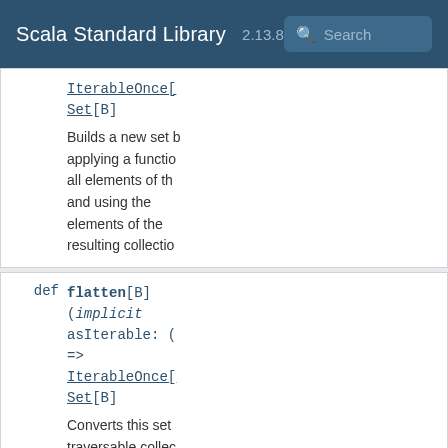Scala Standard Library 2.13.8 Search
IterableOnce[Set[B]
Builds a new set by applying a function to all elements of this and using the elements of the resulting collection
def flatten[B](implicit asIterable: ( => IterableOnce[Set[B]
Converts this set of traversable collections into a set formed by the elements of these traversable collections
def fold[A1 >: A](z: A1)